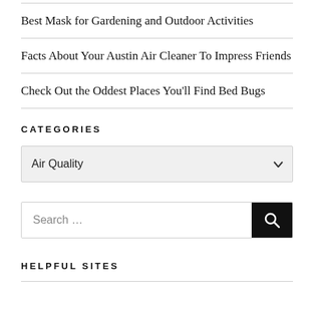Best Mask for Gardening and Outdoor Activities
Facts About Your Austin Air Cleaner To Impress Friends
Check Out the Oddest Places You'll Find Bed Bugs
CATEGORIES
Air Quality
Search …
HELPFUL SITES